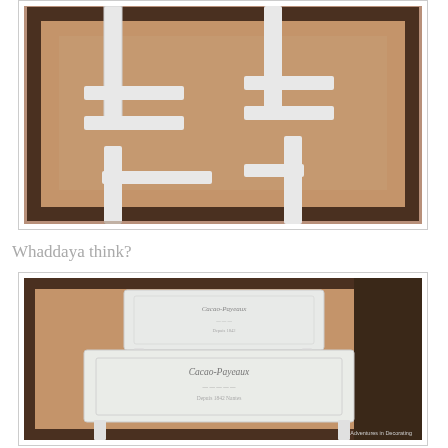[Figure (photo): White painted wooden stool/table legs viewed from above, sitting on a brown woven rug with dark border on tile floor. Close-up showing the cross-brace structure of two nesting tables.]
Whaddaya think?
[Figure (photo): Two white painted nesting side tables with French-style text graphic transfer on their tops, sitting on brown woven rug with dark border. Tables shown at an angle to display the decorative stamp/stencil design. Watermark reads 'Adventures in Decorating'.]